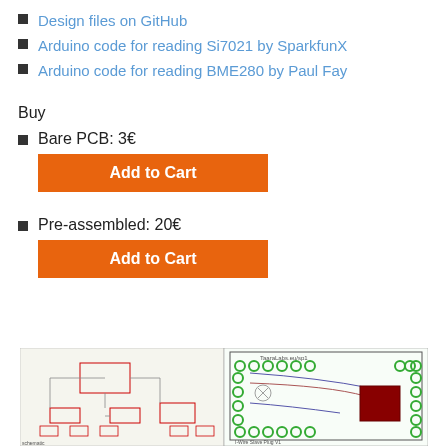Design files on GitHub
Arduino code for reading Si7021 by SparkfunX
Arduino code for reading BME280 by Paul Fay
Buy
Bare PCB: 3€
Pre-assembled: 20€
[Figure (engineering-diagram): PCB schematic diagram (left) and PCB layout with green vias and copper traces showing I2C Slave Plug v1 design by TaaraLabs.eu/sp1 (right)]